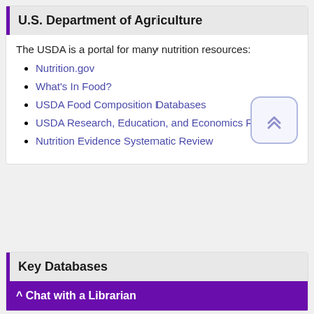U.S. Department of Agriculture
The USDA is a portal for many nutrition resources:
Nutrition.gov
What's In Food?
USDA Food Composition Databases
USDA Research, Education, and Economics Resources
Nutrition Evidence Systematic Review
Key Databases
^ Chat with a Librarian